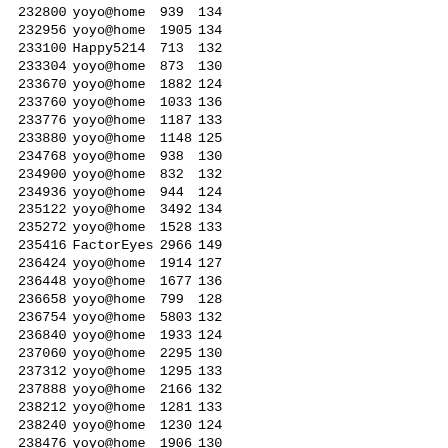| ID | Source | Val1 | Val2 |
| --- | --- | --- | --- |
| 232800 | yoyo@home | 939 | 134 |
| 232956 | yoyo@home | 1905 | 134 |
| 233100 | Happy5214 | 713 | 132 |
| 233304 | yoyo@home | 873 | 130 |
| 233670 | yoyo@home | 1882 | 124 |
| 233760 | yoyo@home | 1033 | 136 |
| 233776 | yoyo@home | 1187 | 133 |
| 233880 | yoyo@home | 1148 | 125 |
| 234768 | yoyo@home | 938 | 130 |
| 234900 | yoyo@home | 832 | 132 |
| 234936 | yoyo@home | 944 | 124 |
| 235122 | yoyo@home | 3492 | 134 |
| 235272 | yoyo@home | 1528 | 133 |
| 235416 | FactorEyes | 2966 | 149 |
| 236424 | yoyo@home | 1914 | 127 |
| 236448 | yoyo@home | 1677 | 136 |
| 236658 | yoyo@home | 799 | 128 |
| 236754 | yoyo@home | 5803 | 132 |
| 236840 | yoyo@home | 1933 | 124 |
| 237060 | yoyo@home | 2295 | 130 |
| 237312 | yoyo@home | 1295 | 133 |
| 237888 | yoyo@home | 2166 | 132 |
| 238212 | yoyo@home | 1281 | 133 |
| 238240 | yoyo@home | 1230 | 124 |
| 238476 | yoyo@home | 1906 | 130 |
| 238728 | yoyo@home | 1219 | 135 |
| 238872 | yoyo@home | 732 | 134 |
| 239652 | yoyo@home | 1528 | 124 |
| 239778 | yoyo@home | 1554 | 126 |
| 239964 | yoyo@home | 2097 | 130 |